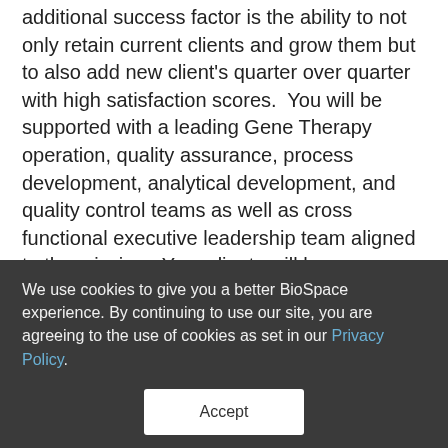additional success factor is the ability to not only retain current clients and grow them but to also add new client's quarter over quarter with high satisfaction scores.  You will be supported with a leading Gene Therapy operation, quality assurance, process development, analytical development, and quality control teams as well as cross functional executive leadership team aligned to the mission.  Your clients will have access to the latest and highly scaled facilities that are state of the art providing leading adherent and suspension for viral
We use cookies to give you a better BioSpace experience. By continuing to use our site, you are agreeing to the use of cookies as set in our Privacy Policy.
Accept